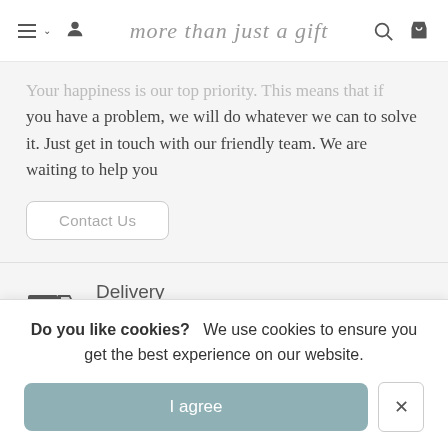more than just a gift
Your happiness is our top priority. This means that if you have a problem, we will do whatever we can to solve it. Just get in touch with our friendly team. We are waiting to help you
Contact Us
Delivery
Want your order fast? We offer fully tracked delivery by DPD with the option to upgrade to next...
Do you like cookies?  We use cookies to ensure you get the best experience on our website.
I agree